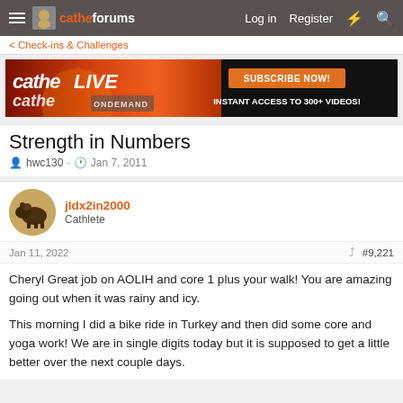Cathe Forums — Log in  Register
< Check-ins & Challenges
[Figure (illustration): Cathe Live and Cathe On Demand banner ad. Orange-red fire background on the left with 'catheLIVE cathe ONDEMAND' text. Right side black with orange 'SUBSCRIBE NOW!' button and white text 'INSTANT ACCESS TO 300+ VIDEOS!']
Strength in Numbers
hwc130 · Jan 7, 2011
jldx2in2000
Cathlete
Jan 11, 2022    #9,221
Cheryl Great job on AOLIH and core 1 plus your walk! You are amazing going out when it was rainy and icy.

This morning I did a bike ride in Turkey and then did some core and yoga work! We are in single digits today but it is supposed to get a little better over the next couple days.